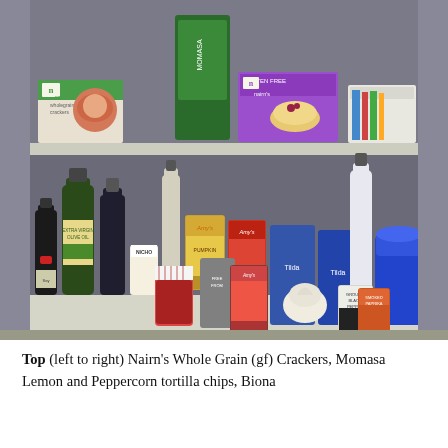[Figure (photo): A kitchen pantry cabinet with two shelves filled with food items. Top shelf contains Nairn's Wholegrain Crackers box, Nairn's gluten free crackers (purple box), Momasa tortilla chips bag, and other items in a white container. Bottom shelf is densely packed with bottles of oil (Extra Virgin Olive Oil, dark soy sauce bottle), various canned goods (Amy's soups, kidney beans, pumpkin), jars (jam, pickles), bags (Tilda rice), spice jars (ground black pepper, smoked paprika), and a blue canister.]
Top (left to right) Nairn's Whole Grain (gf) Crackers, Momasa Lemon and Peppercorn tortilla chips, Biona